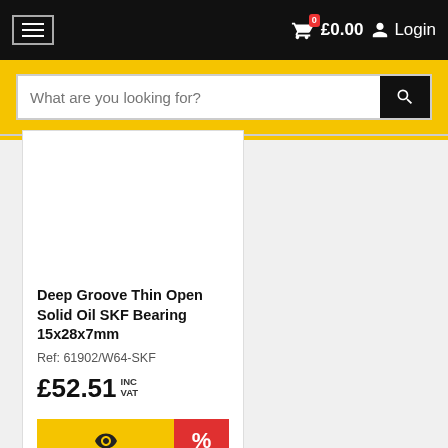Navigation bar with hamburger menu, cart showing £0.00, and Login button
What are you looking for?
[Figure (other): Product card for Deep Groove Thin Open Solid Oil SKF Bearing 15x28x7mm, Ref: 61902/W64-SKF, £52.51 INC VAT, with view and discount buttons]
Deep Groove Thin Open Solid Oil SKF Bearing 15x28x7mm
Ref: 61902/W64-SKF
£52.51 INC VAT